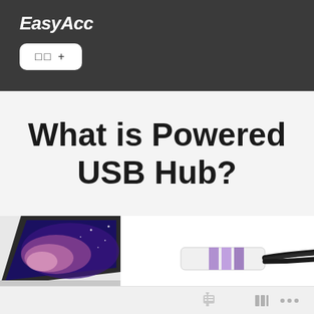EasyAcc
□□ +
What is Powered USB Hub?
[Figure (photo): A laptop displaying a galaxy wallpaper and a USB hub with cables connected, shown at the bottom of the page.]